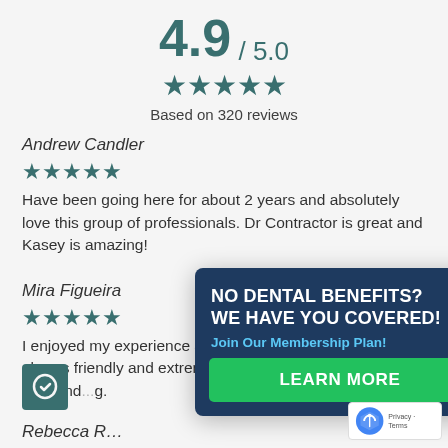4.9 / 5.0
[Figure (infographic): Five teal stars rating display]
Based on 320 reviews
Andrew Candler
[Figure (infographic): Five teal stars for Andrew Candler review]
Have been going here for about 2 years and absolutely love this group of professionals. Dr Contractor is great and Kasey is amazing!
Mira Figueira
[Figure (infographic): Five teal stars for Mira Figueira review]
I enjoyed my experience at this dentist office. They are always friendly and extremely helpful. Dr. Contractor is a n...y and...g.
[Figure (infographic): Popup modal: NO DENTAL BENEFITS? WE HAVE YOU COVERED! Join Our Membership Plan! LEARN MORE button]
Rebecca R...